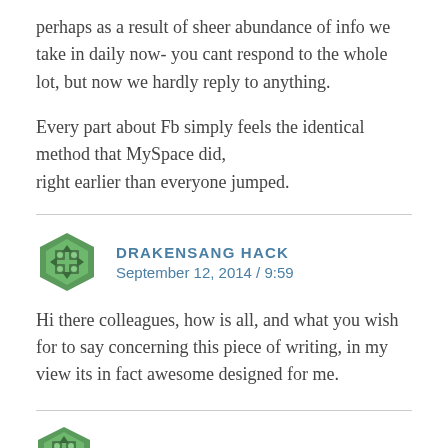perhaps as a result of sheer abundance of info we take in daily now- you cant respond to the whole lot, but now we hardly reply to anything.
Every part about Fb simply feels the identical method that MySpace did,
right earlier than everyone jumped.
DRAKENSANG HACK
September 12, 2014 / 9:59
Hi there colleagues, how is all, and what you wish for to say concerning this piece of writing, in my view its in fact awesome designed for me.
BEST IP CAMERA